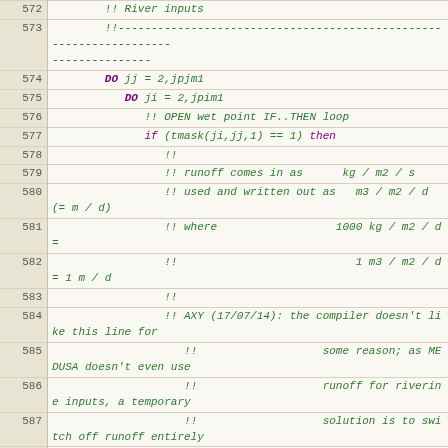Source code listing, lines 572-592, Fortran code with river inputs comments